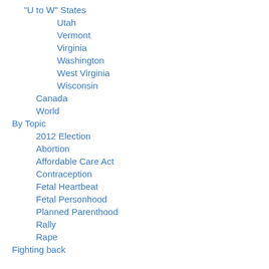“U to W” States
Utah
Vermont
Virginia
Washington
West Virginia
Wisconsin
Canada
World
By Topic
2012 Election
Abortion
Affordable Care Act
Contraception
Fetal Heartbeat
Fetal Personhood
Planned Parenthood
Rally
Rape
Fighting back